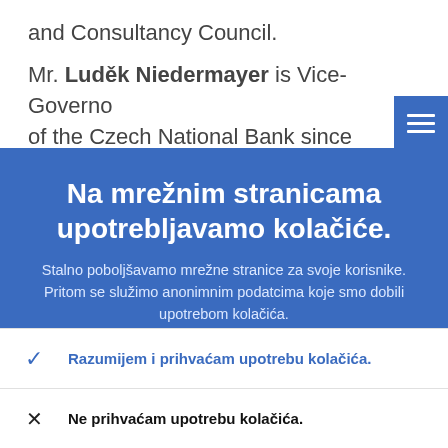and Consultancy Council.
Mr. Luděk Niedermayer is Vice-Governor of the Czech National Bank since Decembe...
Na mrežnim stranicama upotrebljavamo kolačiće.
Stalno poboljšavamo mrežne stranice za svoje korisnike. Pritom se služimo anonimnim podatcima koje smo dobili upotrebom kolačića.
Više o tome kako upotrebljavamo kolačiće
Razumijem i prihvaćam upotrebu kolačića.
Ne prihvaćam upotrebu kolačića.